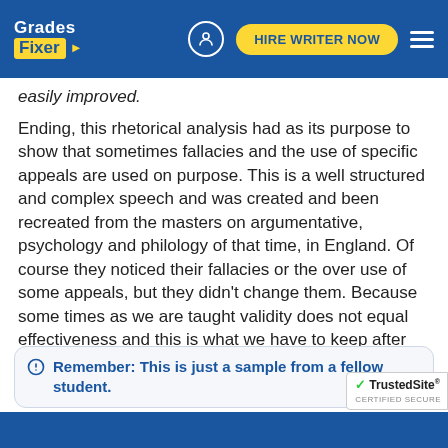Grades Fixer | HIRE WRITER NOW
easily improved.
Ending, this rhetorical analysis had as its purpose to show that sometimes fallacies and the use of specific appeals are used on purpose. This is a well structured and complex speech and was created and been recreated from the masters on argumentative, psychology and philology of that time, in England. Of course they noticed their fallacies or the over use of some appeals, but they didn't change them. Because some times as we are taught validity does not equal effectiveness and this is what we have to keep after all.
Remember: This is just a sample from a fellow student.